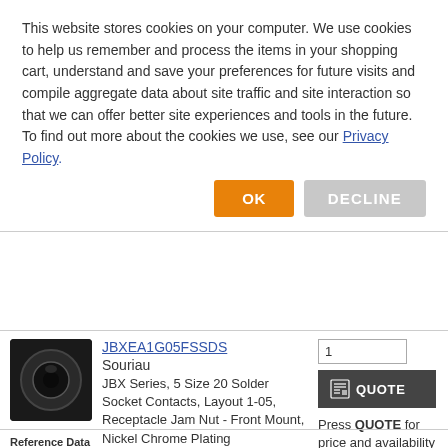This website stores cookies on your computer. We use cookies to help us remember and process the items in your shopping cart, understand and save your preferences for future visits and compile aggregate data about site traffic and site interaction so that we can offer better site experiences and tools in the future. To find out more about the cookies we use, see our Privacy Policy.
OK
DECLINE
JBXEA1G05FSSDS
Souriau
JBX Series, 5 Size 20 Solder Socket Contacts, Layout 1-05, Receptacle Jam Nut - Front Mount, Nickel Chrome Plating
PRICE
Price available by Quote only
AVAILABLE
0
1
QUOTE
Press QUOTE for price and availability (or Call us).
Reference Data